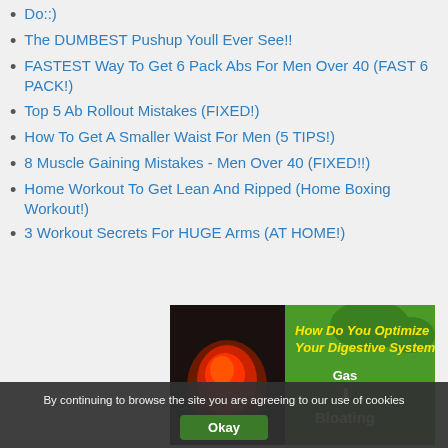Do::)
The DUMBEST Pushup Youll Ever See!!
FASTEST Way To Get 6 Pack Abs For Men Over 40 (FAST 6 PACK!)
Top 5 Ab Rollout Mistakes (FIXED!)
How To Get A Smaller Waist For Men (5 TIPS!)
8 Muscle Gaining Mistakes - Men Over 40 (FIXED!!)
Home Workout To Get Lean And Ripped (Home Boxing Workout!)
3 Workout Secrets For HUGE Arms (AT HOME!)
[Figure (infographic): Advertisement banner for digestive system optimization with anatomical image on left and text: How Do You Optimize Your Digestive System? Gas → Bloating]
By continuing to browse the site you are agreeing to our use of cookies
Okay